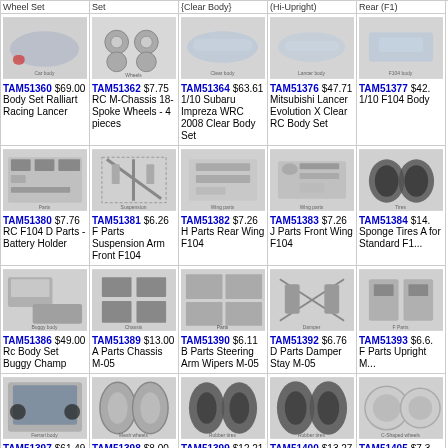| Product | Product | Product | Product | Product |
| --- | --- | --- | --- | --- |
| TAM51360 $69.00 Body Set Ralliart Racing Lancer | TAM51362 $7.75 RC M-Chassis 18-Spoke Wheels - 4 pieces | TAM51364 $63.61 1/10 Subaru Impreza WRC 2008 Clear Body Set | TAM51376 $47.71 Mitsubishi Lancer Evolution X Clear RC Body Set | TAM51377 $42.. 1/10 F104 Body... |
| TAM51380 $7.76 RC F104 D Parts - Battery Holder | TAM51381 $6.26 F Parts Suspension Arm Front F104 | TAM51382 $7.26 H Parts Rear Wing F104 | TAM51383 $7.26 J Parts Front Wing F104 | TAM51384 $14.. Sponge Tires A for Standard F1.. |
| TAM51386 $49.00 Rc Body Set Buggy Champ | TAM51389 $13.00 A Parts Chassis M-05 | TAM51390 $6.11 B Parts Steering Arm Wipers M-05 | TAM51392 $6.76 D Parts Damper Stay M-05 | TAM51393 $6.6.. F Parts Upright M... |
| TAM51397 $61.49 Ferrari F60 Clear RC Body Set | TAM51398 $8.00 F104 Mesh Wheels For Rubber Tires (4) | TAM51399 $12.21 F104 Rubber Tires Front Type B 2 | TAM51400 $13.27 F104 Rubber Tires Rear Type B 2 | TAM51405 $7.3.. C-Shaped 10-Sp Wheel M-Chass.. |
| (partial row) | (partial) | TAM51412 $8.38 | (partial) | (partial) |